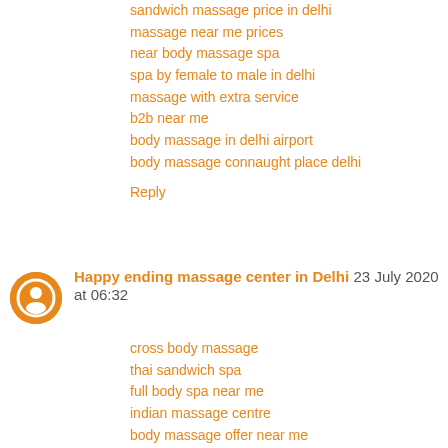sandwich massage price in delhi
massage near me prices
near body massage spa
spa by female to male in delhi
massage with extra service
b2b near me
body massage in delhi airport
body massage connaught place delhi
Reply
Happy ending massage center in Delhi 23 July 2020 at 06:32
cross body massage
thai sandwich spa
full body spa near me
indian massage centre
body massage offer near me
massage centres in paharganj delhi
male to male massage delhi